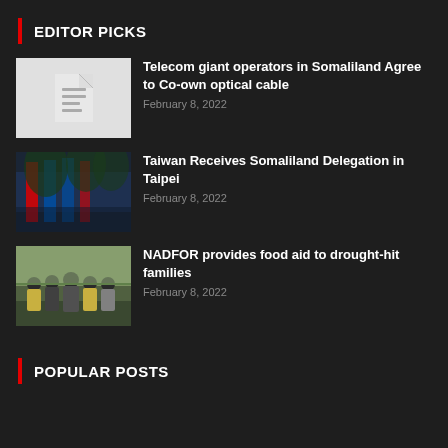EDITOR PICKS
Telecom giant operators in Somaliland Agree to Co-own optical cable — February 8, 2022
Taiwan Receives Somaliland Delegation in Taipei — February 8, 2022
NADFOR provides food aid to drought-hit families — February 8, 2022
POPULAR POSTS